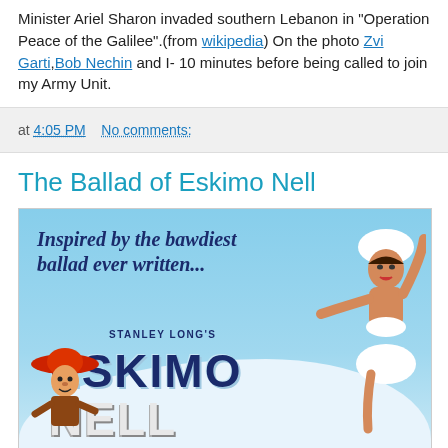Minister Ariel Sharon invaded southern Lebanon in "Operation Peace of the Galilee".(from wikipedia) On the photo Zvi Garti,Bob Nechin and I- 10 minutes before being called to join my Army Unit.
at 4:05 PM   No comments:
The Ballad of Eskimo Nell
[Figure (illustration): Movie poster for 'Eskimo Nell' (Stanley Long's). Shows text 'Inspired by the bawdiest ballad ever written...' at top left, a scantily clad woman figure on the right wearing a white fur hat, and cartoon characters on the lower left, with large stylized 'ESKIMO NELL' text in the center.]